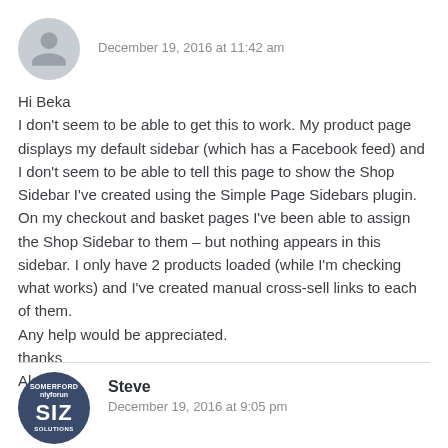December 19, 2016 at 11:42 am
Hi Beka
I don’t seem to be able to get this to work. My product page displays my default sidebar (which has a Facebook feed) and I don’t seem to be able to tell this page to show the Shop Sidebar I’ve created using the Simple Page Sidebars plugin. On my checkout and basket pages I’ve been able to assign the Shop Sidebar to them – but nothing appears in this sidebar. I only have 2 products loaded (while I’m checking what works) and I’ve created manual cross-sell links to each of them.
Any help would be appreciated.
thanks
Alan
Steve
December 19, 2016 at 9:05 pm